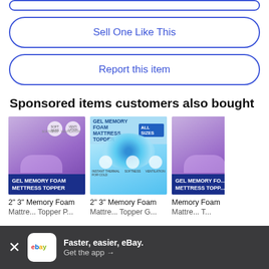[Figure (screenshot): Partial top button (Sell One Like This) cut off at top]
Sell One Like This
Report this item
Sponsored items customers also bought
[Figure (photo): Purple gel memory foam mattress topper product image with GEL MEMORY FOAM METTRESS TOPPER label]
2" 3" Memory Foam Mattr... Topper P...
[Figure (photo): Blue gel memory foam mattress topper product image with ALL SIZES badge]
2" 3" Memory Foam Mattr... Topper G...
[Figure (photo): Purple gel memory foam mattress topper product image partial]
Memory Foam Mattre... Topp...
Faster, easier, eBay. Get the app →